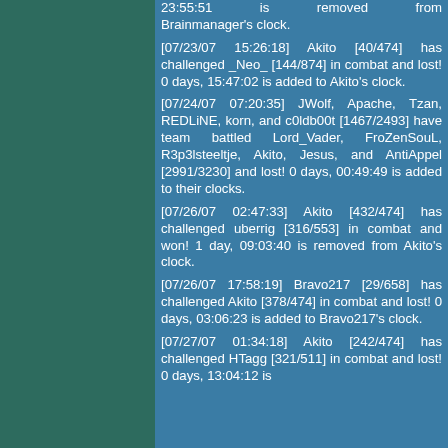23:55:51 is removed from Brainmanager's clock. [07/23/07 15:26:18] Akito [40/474] has challenged _Neo_ [144/874] in combat and lost! 0 days, 15:47:02 is added to Akito's clock. [07/24/07 07:20:35] JWolf, Apache, Tzan, REDLiNE, korn, and c0ldb00t [1467/2493] have team battled Lord_Vader, FroZenSouL, R3p3lsteeltje, Akito, Jesus, and AntiAppel [2991/3230] and lost! 0 days, 00:49:49 is added to their clocks. [07/26/07 02:47:33] Akito [432/474] has challenged uberrig [316/553] in combat and won! 1 day, 09:03:40 is removed from Akito's clock. [07/26/07 17:58:19] Bravo217 [29/658] has challenged Akito [378/474] in combat and lost! 0 days, 03:06:23 is added to Bravo217's clock. [07/27/07 01:34:18] Akito [242/474] has challenged HTagg [321/511] in combat and lost! 0 days, 13:04:12 is